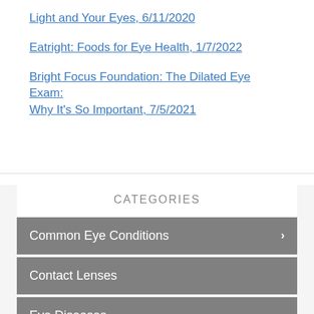Light and Your Eyes, 6/11/2020
Eatright: Foods for Eye Health, 1/7/2022
Bright Focus Foundation: The Dilated Eye Exam: Why It's So Important, 7/5/2021
CATEGORIES
Common Eye Conditions
Contact Lenses
Eye Diseases
Eyeglasses